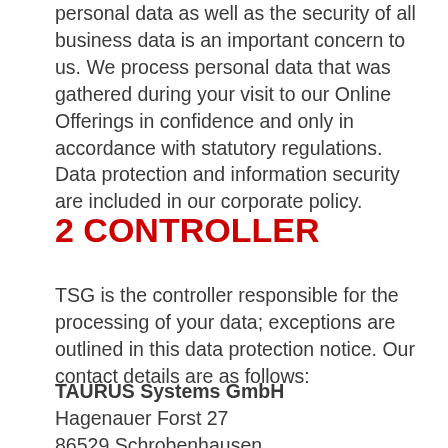personal data as well as the security of all business data is an important concern to us. We process personal data that was gathered during your visit to our Online Offerings in confidence and only in accordance with statutory regulations. Data protection and information security are included in our corporate policy.
2 CONTROLLER
TSG is the controller responsible for the processing of your data; exceptions are outlined in this data protection notice. Our contact details are as follows:
TAURUS Systems GmbH
Hagenauer Forst 27
86529 Schrobenhausen
phone: +49 8252 996766
e-mail: info@taurus-systems.de